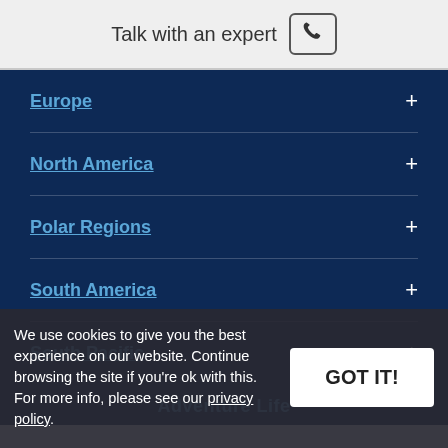Talk with an expert [phone icon]
Europe +
North America +
Polar Regions +
South America +
South Pacific +
Adventure Life
We use cookies to give you the best experience on our website. Continue browsing the site if you're ok with this. For more info, please see our privacy policy.